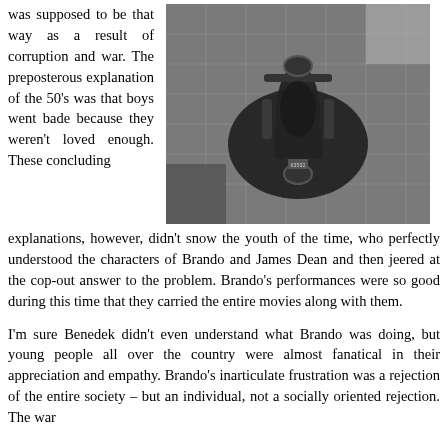was supposed to be that way as a result of corruption and war. The preposterous explanation of the 50's was that boys went bade because they weren't loved enough. These concluding explanations, however, didn't snow the youth of the time, who perfectly understood the characters of Brando and James Dean and then jeered at the cop-out answer to the problem. Brando's performances were so good during this time that they carried the entire movies along with them.
[Figure (photo): Black and white overhead aerial photograph of a person on a motorcycle on a cobblestone street, viewed from directly above.]
I'm sure Benedek didn't even understand what Brando was doing, but young people all over the country were almost fanatical in their appreciation and empathy. Brando's inarticulate frustration was a rejection of the entire society – but an individual, not a socially oriented rejection. The war